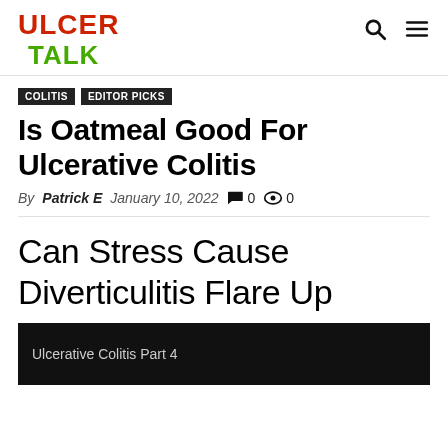ULCER TALK
COLITIS  EDITOR PICKS
Is Oatmeal Good For Ulcerative Colitis
By Patrick E  January 10, 2022  0  0
Can Stress Cause Diverticulitis Flare Up
Ulcerative Colitis Part 4